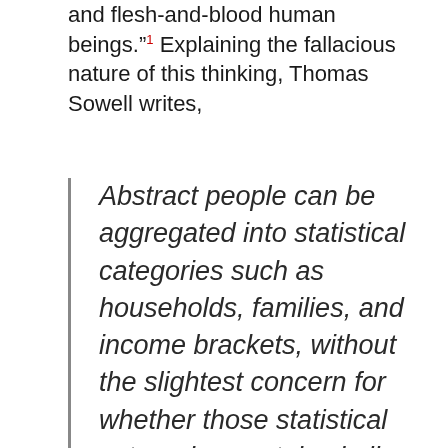and flesh-and-blood human beings."¹ Explaining the fallacious nature of this thinking, Thomas Sowell writes,
Abstract people can be aggregated into statistical categories such as households, families, and income brackets, without the slightest concern for whether those statistical categories contain similar people, or even the same number of people, or people who differ substantially in age, much less in such finer distinctions as